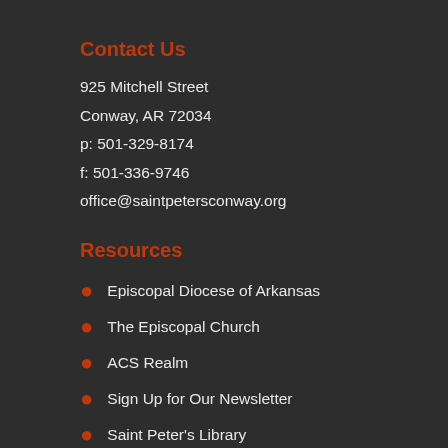Contact Us
925 Mitchell Street
Conway, AR 72034
p: 501-329-8174
f: 501-336-9746
office@saintpetersconway.org
Resources
Episcopal Diocese of Arkansas
The Episcopal Church
ACS Realm
Sign Up for Our Newsletter
Saint Peter's Library